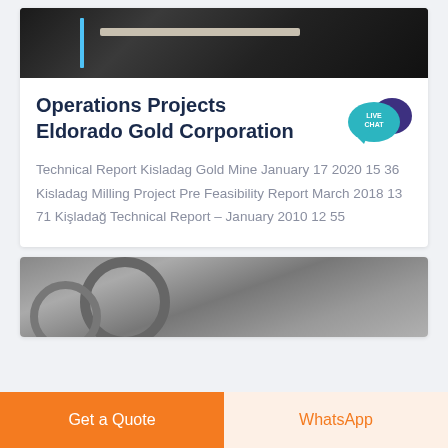[Figure (photo): Industrial equipment/wires photograph — dark background with machinery parts visible]
Operations Projects Eldorado Gold Corporation
[Figure (other): Live Chat speech bubble icon in teal/purple]
Technical Report Kisladag Gold Mine January 17 2020 15 36 Kisladag Milling Project Pre Feasibility Report March 2018 13 71 Kişladağ Technical Report – January 2010 12 55
[Figure (photo): Industrial machinery photograph — grayscale image of large industrial equipment with cylindrical parts]
Get a Quote
WhatsApp